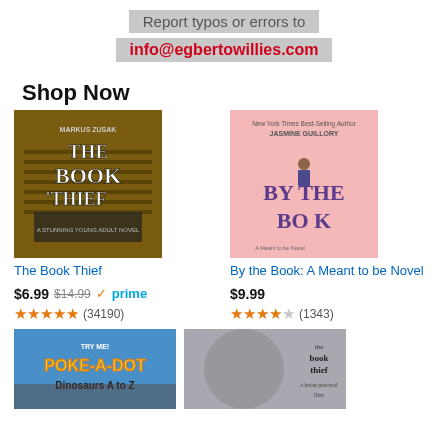Report typos or errors to
info@egbertowillies.com
Shop Now
[Figure (photo): Book cover: The Book Thief by Markus Zusak]
The Book Thief
$6.99 $14.99 prime
★★★★★ (34190)
[Figure (photo): Book cover: By the Book: A Meant to be Novel by Jasmine Guillory]
By the Book: A Meant to be Novel
$9.99
★★★★☆ (1343)
[Figure (photo): Book cover: Poke-a-Dot Dinosaurs A to Z]
[Figure (photo): Book cover: The Book Thief (movie tie-in)]